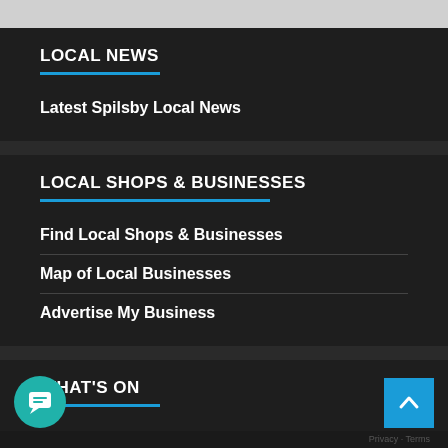LOCAL NEWS
Latest Spilsby Local News
LOCAL SHOPS & BUSINESSES
Find Local Shops & Businesses
Map of Local Businesses
Advertise My Business
WHAT'S ON